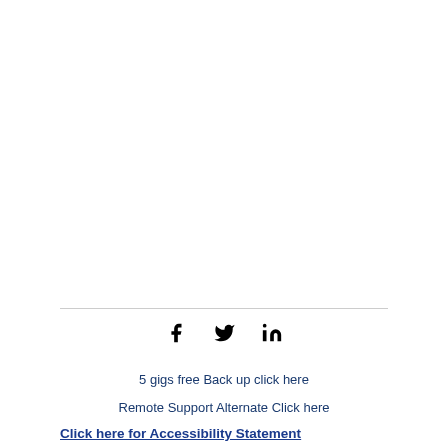[Figure (other): Social media icons: Facebook (f), Twitter (bird), LinkedIn (in)]
5 gigs free Back up click here
Remote Support Alternate Click here
Click here for Accessibility Statement